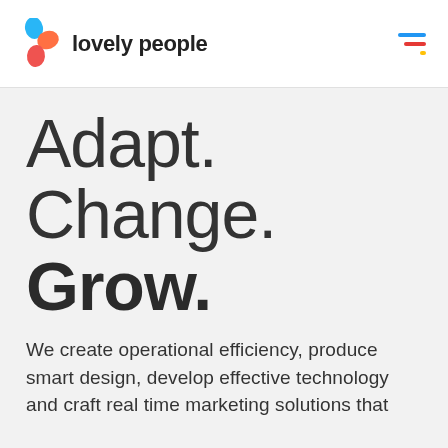[Figure (logo): Lovely people logo: colorful abstract mark with blue, orange, and red teardrop shapes forming a plus/person icon, next to the text 'lovely people' in dark semi-bold sans-serif]
[Figure (other): Hamburger menu icon with three horizontal lines in blue, red, and yellow/amber colors]
Adapt.
Change.
Grow.
We create operational efficiency, produce smart design, develop effective technology and craft real time marketing solutions that